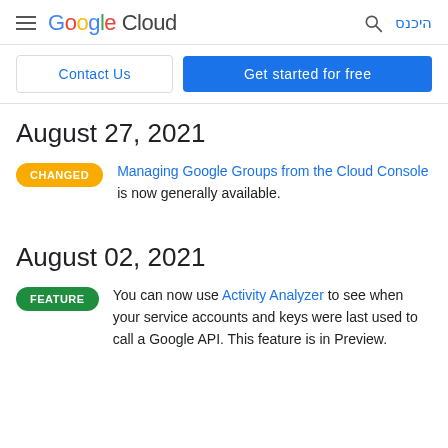Google Cloud — היכנס
Contact Us | Get started for free
August 27, 2021
CHANGED — Managing Google Groups from the Cloud Console is now generally available.
August 02, 2021
FEATURE — You can now use Activity Analyzer to see when your service accounts and keys were last used to call a Google API. This feature is in Preview.